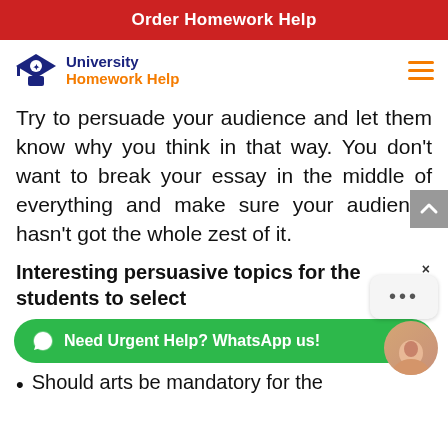Order Homework Help
[Figure (logo): University Homework Help logo with graduation cap icon]
Try to persuade your audience and let them know why you think in that way. You don’t want to break your essay in the middle of everything and make sure your audience hasn’t got the whole zest of it.
Interesting persuasive topics for the students to select
[Figure (infographic): WhatsApp urgent help button bar (green), chat bubble overlay, close X button, and avatar photo]
Should arts be mandatory for the